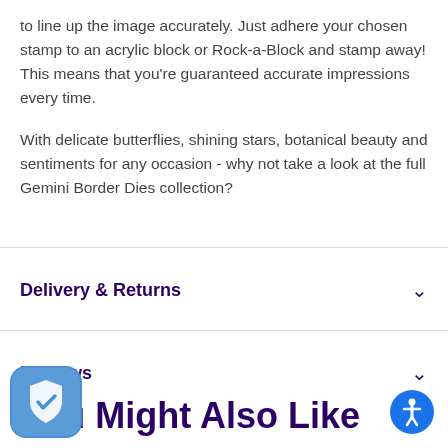to line up the image accurately. Just adhere your chosen stamp to an acrylic block or Rock-a-Block and stamp away! This means that you're guaranteed accurate impressions every time.
With delicate butterflies, shining stars, botanical beauty and sentiments for any occasion - why not take a look at the full Gemini Border Dies collection?
Delivery & Returns
Reviews
You Might Also Like
[Figure (other): Trust/security badge icon - blue rounded square with shield and checkmark]
[Figure (other): Accessibility icon - blue circle with person/wheelchair symbol]